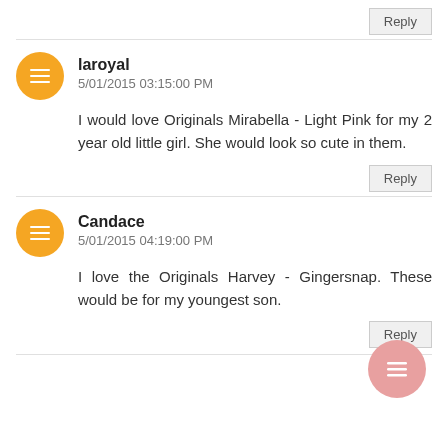Reply
laroyal
5/01/2015 03:15:00 PM
I would love Originals Mirabella - Light Pink for my 2 year old little girl. She would look so cute in them.
Reply
Candace
5/01/2015 04:19:00 PM
I love the Originals Harvey - Gingersnap. These would be for my youngest son.
Reply